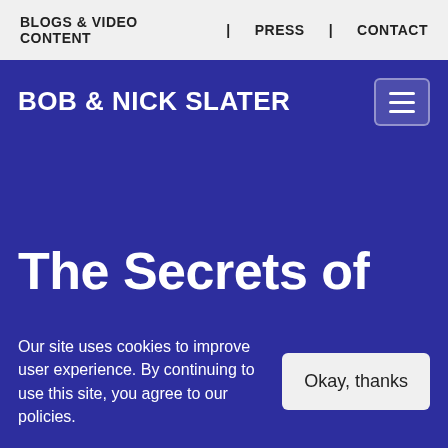BLOGS & VIDEO CONTENT | PRESS | CONTACT
BOB & NICK SLATER
The Secrets of
Our site uses cookies to improve user experience. By continuing to use this site, you agree to our policies.